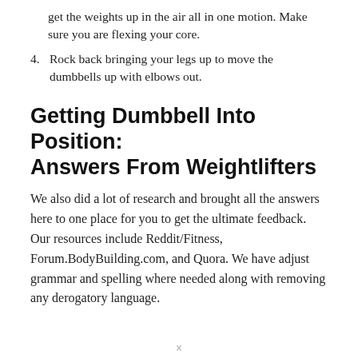get the weights up in the air all in one motion. Make sure you are flexing your core.
4. Rock back bringing your legs up to move the dumbbells up with elbows out.
Getting Dumbbell Into Position: Answers From Weightlifters
We also did a lot of research and brought all the answers here to one place for you to get the ultimate feedback. Our resources include Reddit/Fitness, Forum.BodyBuilding.com, and Quora. We have adjust grammar and spelling where needed along with removing any derogatory language.
x